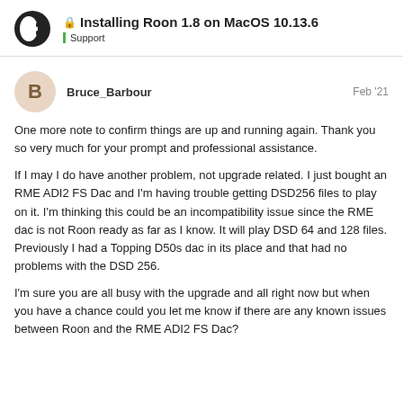Installing Roon 1.8 on MacOS 10.13.6 | Support
Bruce_Barbour  Feb '21
One more note to confirm things are up and running again. Thank you so very much for your prompt and professional assistance.
If I may I do have another problem, not upgrade related. I just bought an RME ADI2 FS Dac and I'm having trouble getting DSD256 files to play on it. I'm thinking this could be an incompatibility issue since the RME dac is not Roon ready as far as I know. It will play DSD 64 and 128 files. Previously I had a Topping D50s dac in its place and that had no problems with the DSD 256.
I'm sure you are all busy with the upgrade and all right now but when you have a chance could you let me know if there are any known issues between Roon and the RME ADI2 FS Dac?